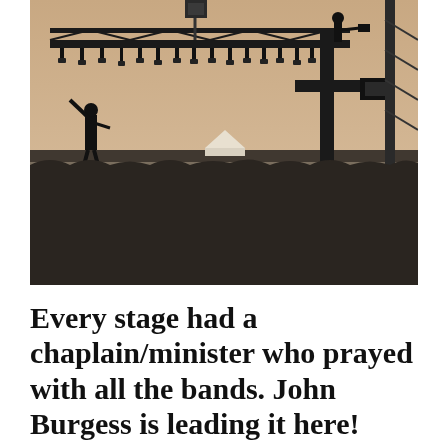[Figure (photo): Black and white sepia-toned concert stage photograph taken from the stage looking out at a massive crowd. Stage lighting rigs and trusses hang overhead with many lights. On the right is a large steel cross structure. A performer on stage left raises their arm toward the crowd. A white tent is visible in the crowd in the distance.]
Every stage had a chaplain/minister who prayed with all the bands. John Burgess is leading it here!